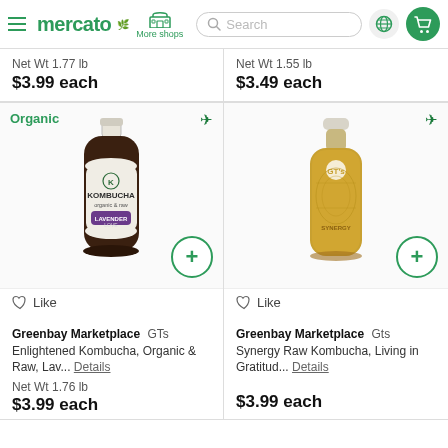mercato — More shops — Search — navigation bar
Net Wt 1.77 lb
$3.99 each
Net Wt 1.55 lb
$3.49 each
[Figure (photo): Greenbay Marketplace GTs Enlightened Kombucha bottle with Organic badge and airplane icon, add button, Like button]
[Figure (photo): Greenbay Marketplace Gts Synergy Raw Kombucha bottle (amber/orange) with airplane icon, add button, Like button]
Greenbay Marketplace GTs Enlightened Kombucha, Organic & Raw, Lav... Details
Net Wt 1.76 lb
$3.99 each
Greenbay Marketplace Gts Synergy Raw Kombucha, Living in Gratitud... Details
$3.99 each